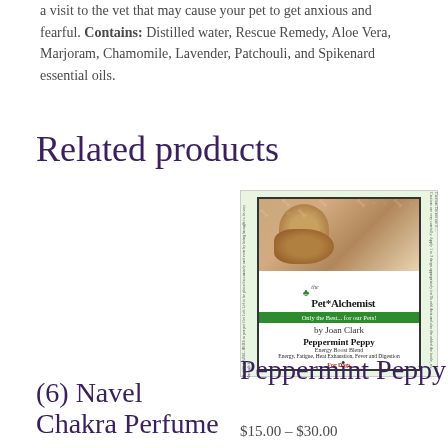a visit to the vet that may cause your pet to get anxious and fearful. Contains: Distilled water, Rescue Remedy, Aloe Vera, Marjoram, Chamomile, Lavender, Patchouli, and Spikenard essential oils.
Related products
[Figure (photo): Pet Alchemist product label for Peppermint Peppy Energy Boost Blend for Dogs, showing a golden retriever dog on a decorative background with hearts and bones pattern]
(6) Navel Chakra Perfume
Peppermint Peppy
$15.00 – $30.00